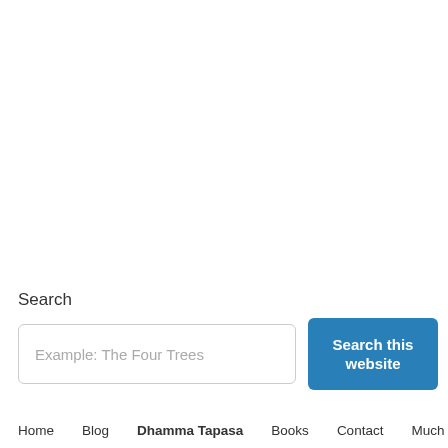Search
Example: The Four Trees
Search this website
Home   Blog   Dhamma Tapasa   Books   Contact   Much